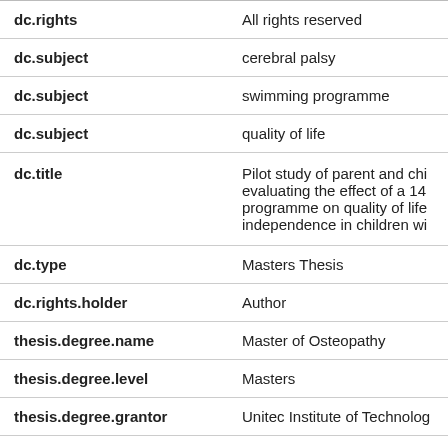| Field | Value |
| --- | --- |
| dc.rights | All rights reserved |
| dc.subject | cerebral palsy |
| dc.subject | swimming programme |
| dc.subject | quality of life |
| dc.title | Pilot study of parent and chi evaluating the effect of a 14 programme on quality of life independence in children wi |
| dc.type | Masters Thesis |
| dc.rights.holder | Author |
| thesis.degree.name | Master of Osteopathy |
| thesis.degree.level | Masters |
| thesis.degree.grantor | Unitec Institute of Technolog |
| thesis.degree.code | 140/00 S... |